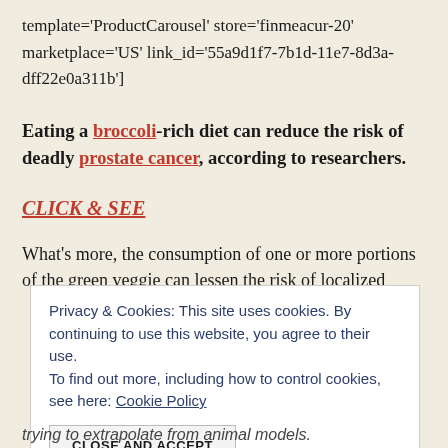template='ProductCarousel' store='finmeacur-20' marketplace='US' link_id='55a9d1f7-7b1d-11e7-8d3a-dff22e0a311b']
Eating a broccoli-rich diet can reduce the risk of deadly prostate cancer, according to researchers.
CLICK & SEE
What's more, the consumption of one or more portions of the green veggie can lessen the risk of localized
Privacy & Cookies: This site uses cookies. By continuing to use this website, you agree to their use. To find out more, including how to control cookies, see here: Cookie Policy
CLOSE AND ACCEPT
trying to extrapolate from animal models.